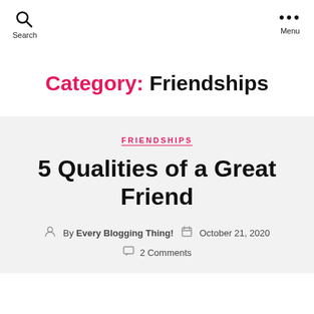Search   Menu
Category: Friendships
FRIENDSHIPS
5 Qualities of a Great Friend
By Every Blogging Thing!   October 21, 2020
2 Comments